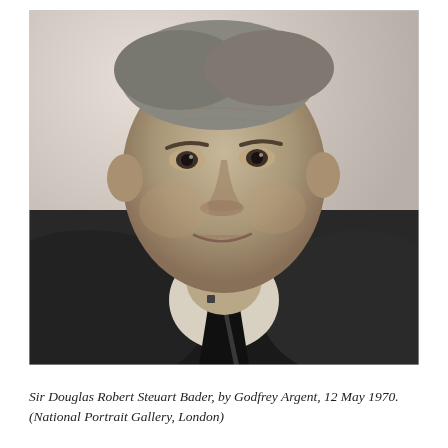[Figure (photo): Black and white portrait photograph of Sir Douglas Robert Steuart Bader, a middle-aged heavyset man wearing a dark suit with a striped tie, looking slightly to the side with a subtle expression.]
Sir Douglas Robert Steuart Bader, by Godfrey Argent, 12 May 1970. (National Portrait Gallery, London)